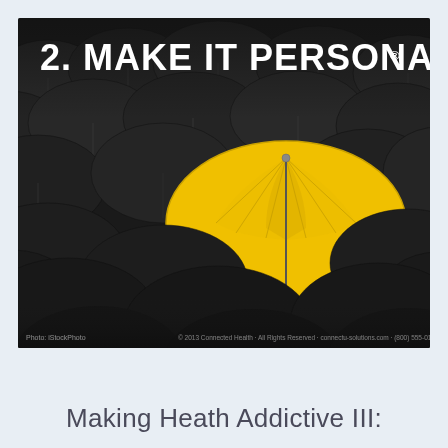[Figure (photo): A sea of dark/black open umbrellas with one bright yellow umbrella standing out in the center-right of the image, symbolizing individuality. The image has dark tones except for the prominent yellow umbrella. White bold text overlay reads '2. MAKE IT PERSONAL' with a registered trademark symbol.]
Making Heath Addictive III: